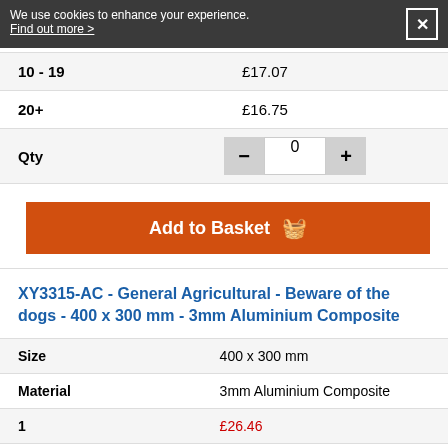We use cookies to enhance your experience. Find out more >
| 10 - 19 | £17.07 |
| 20+ | £16.75 |
Qty  −  0  +
Add to Basket
XY3315-AC - General Agricultural - Beware of the dogs - 400 x 300 mm - 3mm Aluminium Composite
| Size | 400 x 300 mm |
| Material | 3mm Aluminium Composite |
| 1 | £26.46 |
| 2 - 4 | £25.20 |
| 5 - 9 | £24.10 |
| 10 - 19 | £22.89 |
| 20+ | £21.63 |